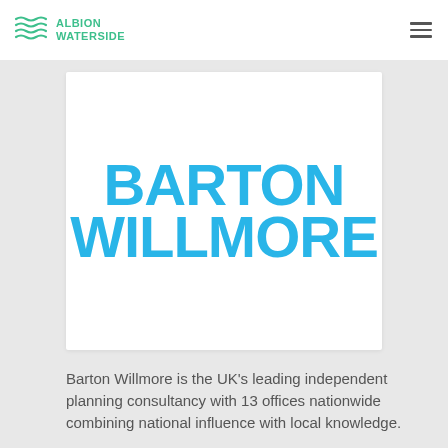[Figure (logo): Albion Waterside logo with wave graphic and teal text reading ALBION WATERSIDE]
[Figure (logo): Barton Willmore logo in large bold cyan/blue text on white card background]
Barton Willmore is the UK’s leading independent planning consultancy with 13 offices nationwide combining national influence with local knowledge.